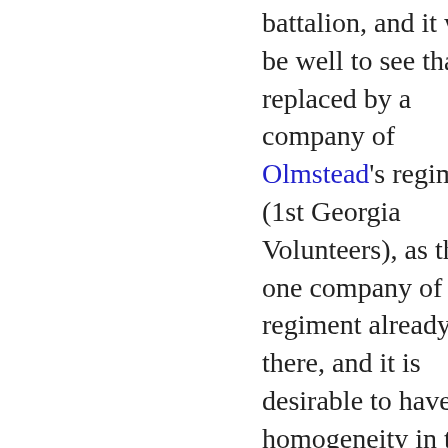battalion, and it will be well to see that it is replaced by a company of Olmstead's regiment (1st Georgia Volunteers), as there is one company of that regiment already there, and it is desirable to have homogeneity in the composition of these garrisons.

There are, moreover, three companies (F, H, and I) of the